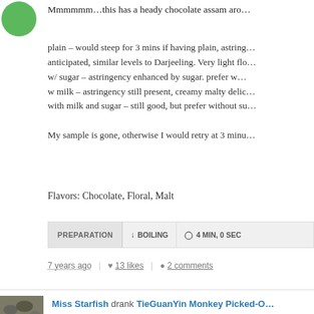Mmmmmm…this has a heady chocolate assam aro…
plain – would steep for 3 mins if having plain, astringency anticipated, similar levels to Darjeeling. Very light flo… w/ sugar – astringency enhanced by sugar. prefer w… w milk – astringency still present, creamy malty delic… with milk and sugar – still good, but prefer without su…

My sample is gone, otherwise I would retry at 3 minu…
Flavors: Chocolate, Floral, Malt
PREPARATION  ↓ BOILING  ⊙ 4 MIN, 0 SEC
7 years ago  |  ♥ 13 likes  |  ● 2 comments
Miss Starfish drank TieGuanYin Monkey Picked-O…